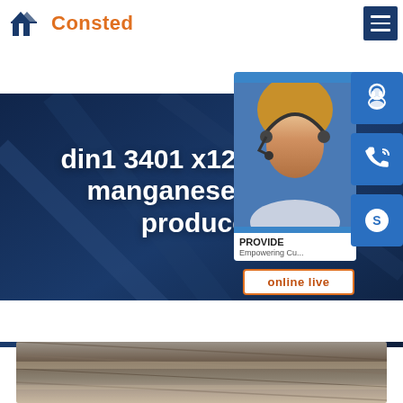[Figure (logo): Consted company logo with house/roof icon in navy blue and orange text]
din1 3401 x120mn12 manganese steel sheet producers
Home » AH36 steel ...
[Figure (photo): Customer service widget overlay showing agent photo, 24/7 label, headset icon, phone icon, Skype icon, and online live button. PROVIDE Empowering Customers text visible.]
[Figure (photo): Steel plate surface photo showing industrial metal sheets with diagonal lines]